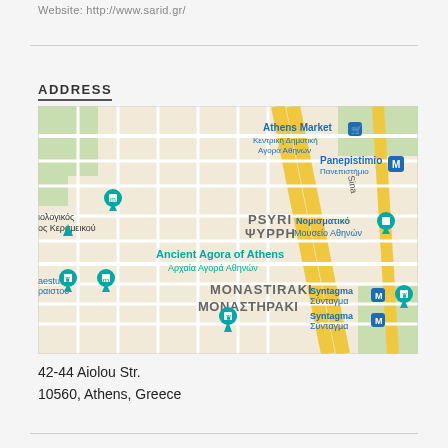Website: http://www.sarid.gr/
ADDRESS
[Figure (map): Google Maps view of central Athens showing neighborhoods PSYRI/ΨΥΡΡΗ, MONASTIRAKI/ΜΟΝΑΣΤΗΡΑΚΙ, Ancient Agora of Athens, Panepistimio metro station, Syntagma metro stations, and various landmarks including Athens Market and Nomismatiko Mouseio Athinon. Map pins mark several museum and landmark locations.]
42-44 Aiolou Str.
10560, Athens, Greece